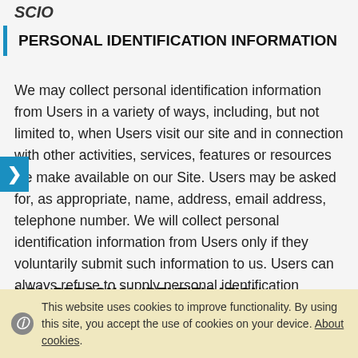SCIO
PERSONAL IDENTIFICATION INFORMATION
We may collect personal identification information from Users in a variety of ways, including, but not limited to, when Users visit our site and in connection with other activities, services, features or resources we make available on our Site. Users may be asked for, as appropriate, name, address, email address, telephone number. We will collect personal identification information from Users only if they voluntarily submit such information to us. Users can always refuse to supply personal identification information, although it may prevent them from engaging in certain Site related activities.
NON-PERSONAL IDENTIFICATION INFORMATION
This website uses cookies to improve functionality. By using this site, you accept the use of cookies on your device. About cookies.